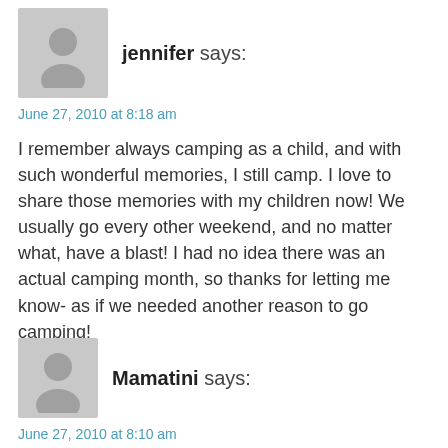[Figure (illustration): Gray avatar silhouette placeholder image for user jennifer]
jennifer says:
June 27, 2010 at 8:18 am
I remember always camping as a child, and with such wonderful memories, I still camp. I love to share those memories with my children now! We usually go every other weekend, and no matter what, have a blast! I had no idea there was an actual camping month, so thanks for letting me know- as if we needed another reason to go camping!
Reply
[Figure (illustration): Gray avatar silhouette placeholder image for user Mamatini]
Mamatini says:
June 27, 2010 at 8:10 am